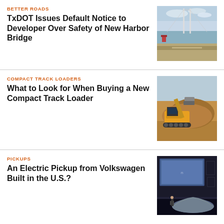BETTER ROADS
TxDOT Issues Default Notice to Developer Over Safety of New Harbor Bridge
[Figure (photo): Aerial photo of a bridge over water with coastal scenery]
COMPACT TRACK LOADERS
What to Look for When Buying a New Compact Track Loader
[Figure (photo): A compact track loader machine working on a dirt/construction site]
PICKUPS
An Electric Pickup from Volkswagen Built in the U.S.?
[Figure (photo): A covered/draped vehicle on a stage at a presentation event with a large screen behind]